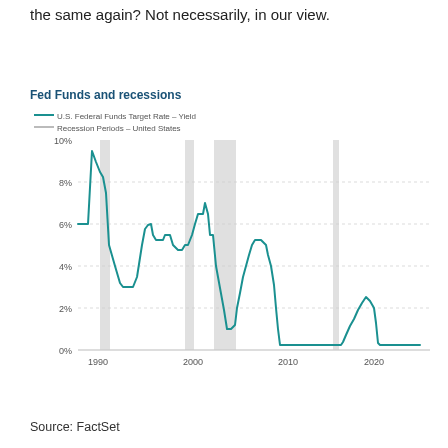the same again? Not necessarily, in our view.
Fed Funds and recessions
[Figure (line-chart): Line chart of U.S. Federal Funds Target Rate Yield from 1990 to 2024, with recession periods shaded in gray. Rate peaked near 9.5% in early 1990s, fell to ~3%, rose to ~6.5% in 2000, then fell to near 0%, rose to ~5% by 2007, fell to 0% during 2008-2009 recession, remained near 0% until 2015-2018 rise, fell again to 0% in 2020, then small uptick and back down.]
Source: FactSet